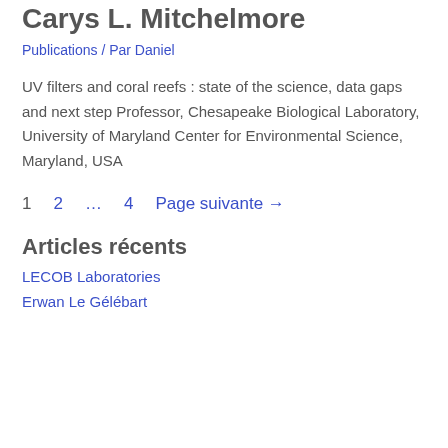Carys L. Mitchelmore
Publications / Par Daniel
UV filters and coral reefs : state of the science, data gaps and next step Professor, Chesapeake Biological Laboratory,  University of Maryland Center for Environmental Science,  Maryland, USA
1  2  ...  4  Page suivante →
Articles récents
LECOB Laboratories
Erwan Le Gélébart